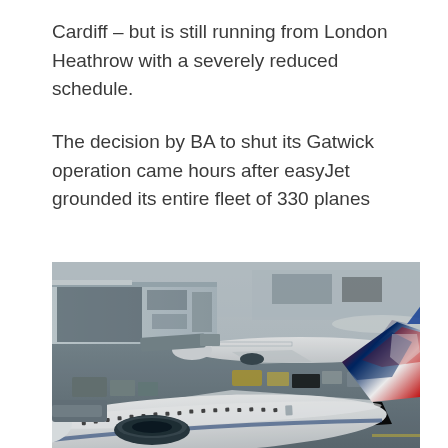Cardiff – but is still running from London Heathrow with a severely reduced schedule.
The decision by BA to shut its Gatwick operation came hours after easyJet grounded its entire fleet of 330 planes
[Figure (photo): Aerial view of an airport tarmac showing British Airways aircraft parked at gates. A large BA Boeing 777 dominates the foreground with its distinctive red and blue Union Jack tail livery. Multiple aircraft and ground vehicles visible at what appears to be London Gatwick or Heathrow airport.]